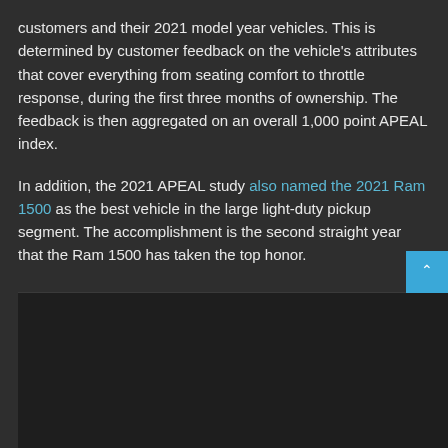customers and their 2021 model year vehicles. This is determined by customer feedback on the vehicle's attributes that cover everything from seating comfort to throttle response, during the first three months of ownership. The feedback is then aggregated on an overall 1,000 point APEAL index.
In addition, the 2021 APEAL study also named the 2021 Ram 1500 as the best vehicle in the large light-duty pickup segment. The accomplishment is the second straight year that the Ram 1500 has taken the top honor.
[Figure (photo): Dark image area at the bottom of the page, partially visible, with a blue scroll-to-top button in the lower right corner.]